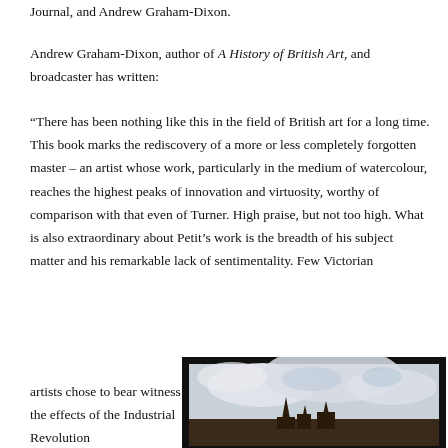Journal, and Andrew Graham-Dixon.
Andrew Graham-Dixon, author of A History of British Art, and broadcaster has written:
“There has been nothing like this in the field of British art for a long time. This book marks the rediscovery of a more or less completely forgotten master – an artist whose work, particularly in the medium of watercolour, reaches the highest peaks of innovation and virtuosity, worthy of comparison with that even of Turner. High praise, but not too high. What is also extraordinary about Petit’s work is the breadth of his subject matter and his remarkable lack of sentimentality. Few Victorian artists chose to bear witness to the effects of the Industrial Revolution...
[Figure (photo): A watercolour painting showing a dramatic cloudy sky with church or cathedral spires/rooftops visible at the bottom, rendered in muted greys and blues, displayed in a dark frame.]